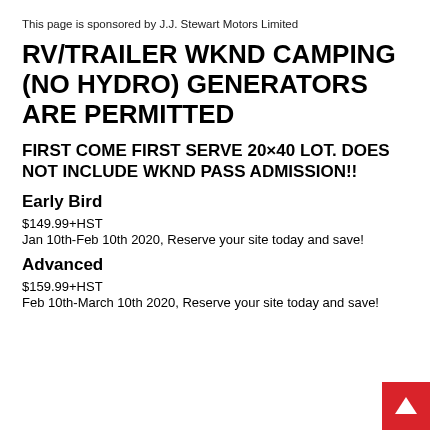This page is sponsored by J.J. Stewart Motors Limited
RV/TRAILER WKND CAMPING (NO HYDRO) GENERATORS ARE PERMITTED
FIRST COME FIRST SERVE 20×40 LOT. DOES NOT INCLUDE WKND PASS ADMISSION!!
Early Bird
$149.99+HST
Jan 10th-Feb 10th 2020, Reserve your site today and save!
Advanced
$159.99+HST
Feb 10th-March 10th 2020, Reserve your site today and save!